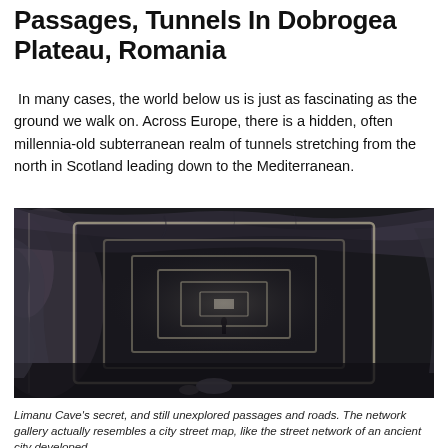Passages, Tunnels In Dobrogea Plateau, Romania
In many cases, the world below us is just as fascinating as the ground we walk on. Across Europe, there is a hidden, often millennia-old subterranean realm of tunnels stretching from the north in Scotland leading down to the Mediterranean.
[Figure (photo): Dark underground cave tunnel with glowing rectangular light trails receding into the distance creating a spiral/vortex effect, black and white photograph of Limanu Cave passages]
Limanu Cave's secret, and still unexplored passages and roads. The network gallery actually resembles a city street map, like the street network of an ancient city developed